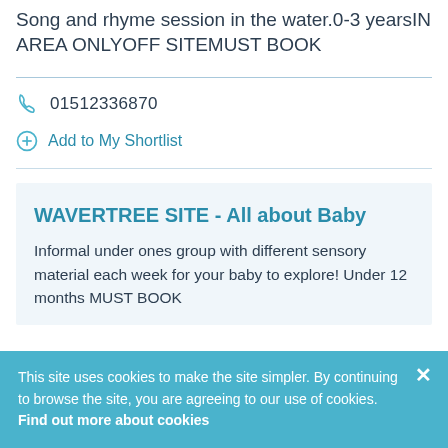Song and rhyme session in the water.0-3 yearsIN AREA ONLYOFF SITEMUST BOOK
01512336870
Add to My Shortlist
WAVERTREE SITE - All about Baby
Informal under ones group with different sensory material each week for your baby to explore! Under 12 months MUST BOOK
This site uses cookies to make the site simpler. By continuing to browse the site, you are agreeing to our use of cookies. Find out more about cookies